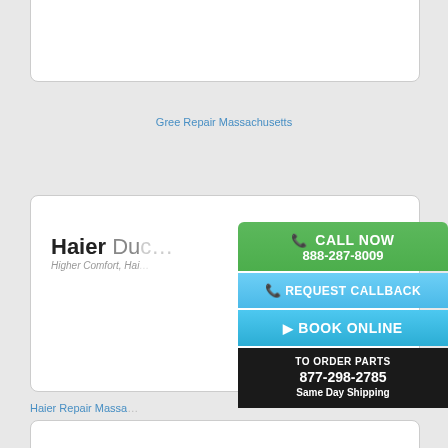[Figure (screenshot): Top card with empty content area (Gree brand card, partially visible)]
Gree Repair Massachusetts
[Figure (logo): Haier Ductless logo with tagline Higher Comfort, Haier Quality]
Haier Repair Massachusetts
[Figure (infographic): Floating CTA panel with Call Now 888-287-8009, Request Callback, Book Online buttons, and To Order Parts 877-298-2785 Same Day Shipping]
[Figure (logo): Hardwick brand logo]